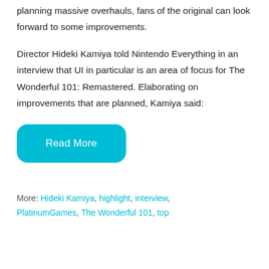planning massive overhauls, fans of the original can look forward to some improvements.
Director Hideki Kamiya told Nintendo Everything in an interview that UI in particular is an area of focus for The Wonderful 101: Remastered. Elaborating on improvements that are planned, Kamiya said:
[Figure (other): Cyan rounded rectangle button labeled 'Read More']
More: Hideki Kamiya, highlight, interview, PlatinumGames, The Wonderful 101, top